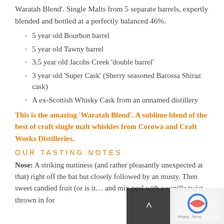Waratah Blend'. Single Malts from 5 separate barrels, expertly blended and bottled at a perfectly balanced 46%.
5 year old Bourbon barrel
5 year old Tawny barrel
3.5 year old Jacobs Creek 'double barrel'
3 year old 'Super Cask' (Sherry seasoned Barossa Shiraz cask)
A ex-Scottish Whisky Cask from an unnamed distillery
This is the amazing 'Waratah Blend'. A sublime blend of the best of craft single malt whiskies from Corowa and Craft Works Distilleries.
OUR TASTING NOTES
Nose: A striking nuttiness (and rather pleasantly unexpected at that) right off the bat but closely followed by an musty... Then sweet candied fruit (or is it... and mix peel with a vanilla twist thrown in for